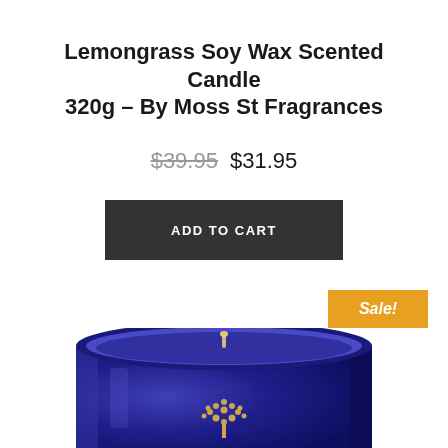Lemongrass Soy Wax Scented Candle 320g – By Moss St Fragrances
$39.95  $31.95
ADD TO CART
Sale!
[Figure (photo): A cobalt blue glass jar candle with a small wick visible, featuring a gold tree logo embossed on the front, viewed from slightly above and cropped at the bottom.]